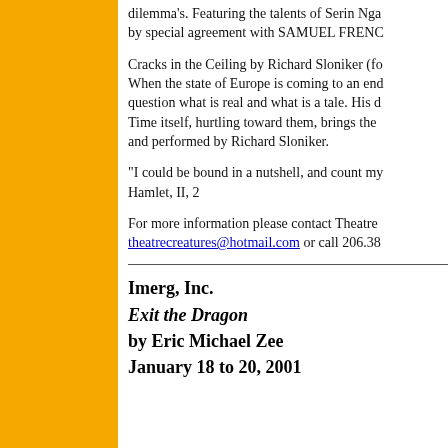dilemma's. Featuring the talents of Serin Nga by special agreement with SAMUEL FRENC
Cracks in the Ceiling by Richard Sloniker (fo When the state of Europe is coming to an end question what is real and what is a tale. His d Time itself, hurtling toward them, brings the and performed by Richard Sloniker.
"I could be bound in a nutshell, and count my Hamlet, II, 2
For more information please contact Theatre theatrecreatures@hotmail.com or call 206.38
Imerg, Inc.
Exit the Dragon
by Eric Michael Zee
January 18 to 20, 2001